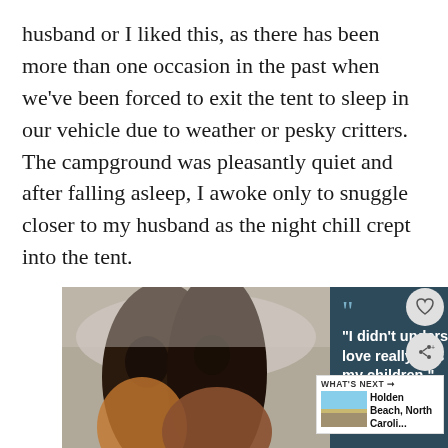husband or I liked this, as there has been more than one occasion in the past when we've been forced to exit the tent to sleep in our vehicle due to weather or pesky critters. The campground was pleasantly quiet and after falling asleep, I awoke only to snuggle closer to my husband as the night chill crept into the tent.
[Figure (photo): Photo of a family group (man and two females) smiling together, alongside an advertisement quote card with dark teal background reading 'I didn't understand what love really was until I had my children.' — Mom]